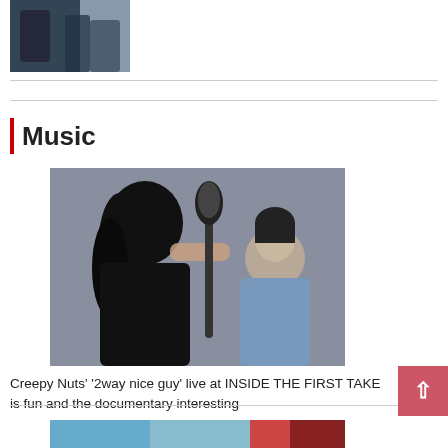[Figure (photo): Partial thumbnail image at top of page showing two people, one in black clothing]
Music
[Figure (photo): Photo of Creepy Nuts performing – a person with long curly hair singing into a microphone in a black shirt, another person with short hair seated in background wearing a blue cape]
Creepy Nuts' '2way nice guy' live at INSIDE THE FIRST TAKE is fun and the documentary interesting
[Figure (photo): Partial bottom image showing colorful objects including what appears to be a red cylindrical container]